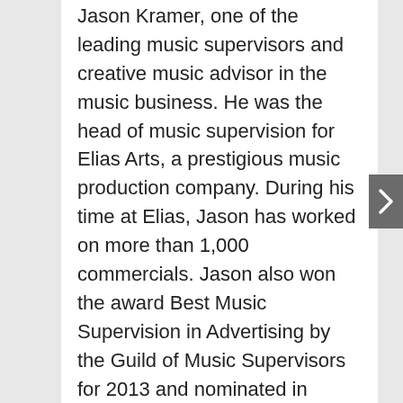Jason Kramer, one of the leading music supervisors and creative music advisor in the music business. He was the head of music supervision for Elias Arts, a prestigious music production company. During his time at Elias, Jason has worked on more than 1,000 commercials. Jason also won the award Best Music Supervision in Advertising by the Guild of Music Supervisors for 2013 and nominated in 2014. He has since worked on high profile commercials, opened his own sync agency called One Drop Sync and manages artist Hayden Everett. He donates much of his time with non profit organizations including Music Unites, Grammy Foundation and also the California Fire